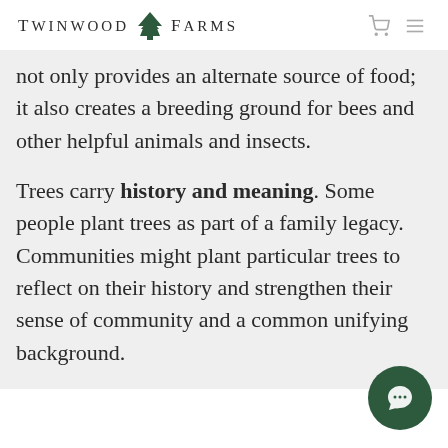Twinwood Farms
not only provides an alternate source of food; it also creates a breeding ground for bees and other helpful animals and insects.
Trees carry history and meaning. Some people plant trees as part of a family legacy. Communities might plant particular trees to reflect on their history and strengthen their sense of community and a common unifying background.